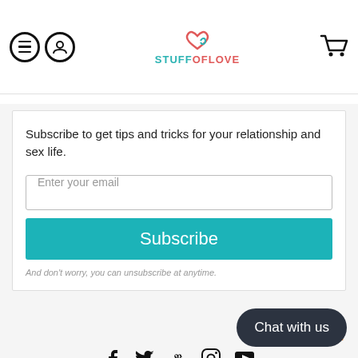[Figure (logo): StuffOfLove website header with menu icon, user icon, StuffOfLove logo in teal/red, and shopping cart icon]
Subscribe to get tips and tricks for your relationship and sex life.
Enter your email
Subscribe
And don't worry, you can unsubscribe at anytime.
powered by MailMunch
[Figure (infographic): Social media icons: Facebook, Twitter, Pinterest, Instagram, YouTube]
[Figure (infographic): Payment method icons: AMEX, Diners Club, Discover, JCB, Mastercard, Visa (partial)]
Chat with us